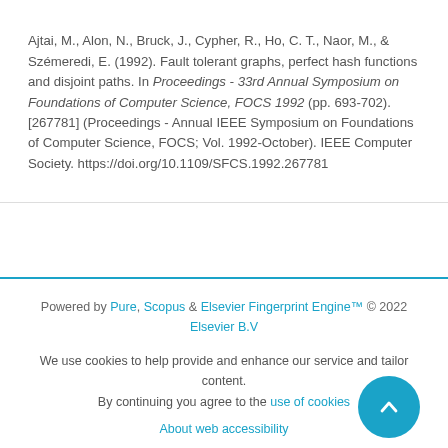Ajtai, M., Alon, N., Bruck, J., Cypher, R., Ho, C. T., Naor, M., & Szémeredi, E. (1992). Fault tolerant graphs, perfect hash functions and disjoint paths. In Proceedings - 33rd Annual Symposium on Foundations of Computer Science, FOCS 1992 (pp. 693-702). [267781] (Proceedings - Annual IEEE Symposium on Foundations of Computer Science, FOCS; Vol. 1992-October). IEEE Computer Society. https://doi.org/10.1109/SFCS.1992.267781
Powered by Pure, Scopus & Elsevier Fingerprint Engine™ © 2022 Elsevier B.V
We use cookies to help provide and enhance our service and tailor content. By continuing you agree to the use of cookies
About web accessibility